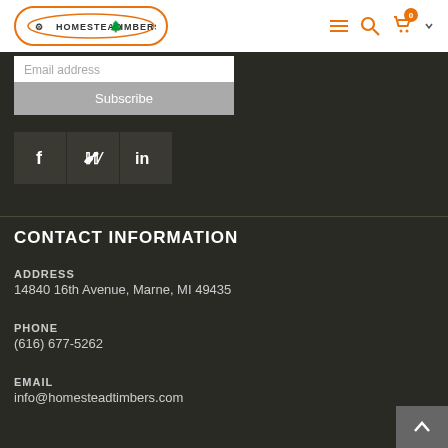HOMESTEAD TIMBERS
Email address
Subscribe
[Figure (other): Social media icons: Facebook (f), Twitter (bird), LinkedIn (in)]
CONTACT INFORMATION
ADDRESS
14840 16th Avenue, Marne, MI 49435
PHONE
(616) 677-5262
EMAIL
info@homesteadtimbers.com